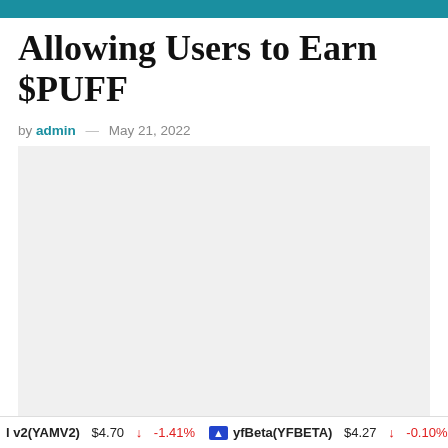Allowing Users to Earn $PUFF
by admin — May 21, 2022
[Figure (other): Large light gray placeholder image block]
l v2(YAMV2) $4.70 ↓ -1.41%  yfBeta(YFBETA) $4.27 ↓ -0.10%